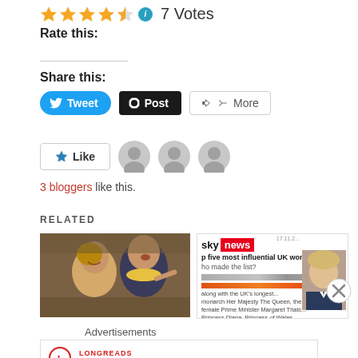★★★★½ ℹ 7 Votes
Rate this:
Share this:
[Figure (screenshot): Tweet, Post, and More share buttons]
[Figure (screenshot): Like button with 3 avatar icons]
3 bloggers like this.
RELATED
[Figure (photo): Photo of Nicola Sturgeon and another person]
[Figure (screenshot): Sky News article about top five most influential UK women]
Advertisements
[Figure (screenshot): Longreads advertisement: Bringing you the best stories on the web since 2009.]